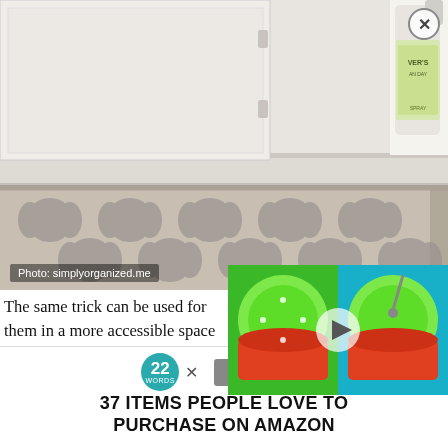[Figure (photo): Under-sink cabinet area with white cabinet door open, grey patterned rug on floor, and Mrs. Meyer's Clean Day spray bottle visible in upper right corner]
Photo: simplyorganized.me
[Figure (screenshot): Video overlay showing two side-by-side images of green lime-decorated cakes with a play button in the center]
The same trick can be used for them in a more accessible space trash bags. I said previously that your trash cabinet. And they do bags either. Keep them hidden from the public's eye.
[Figure (logo): 22 Words circular teal badge logo with CLOSE button advertisement - 37 ITEMS PEOPLE LOVE TO PURCHASE ON AMAZON]
37 ITEMS PEOPLE LOVE TO PURCHASE ON AMAZON